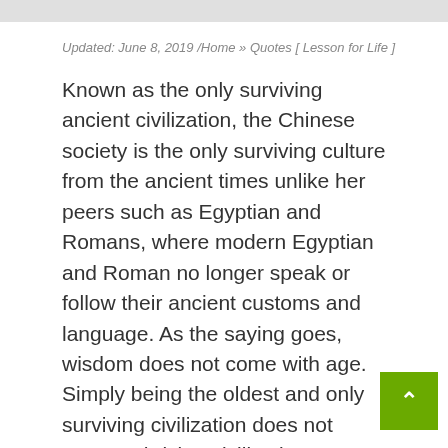Updated: June 8, 2019 /Home » Quotes [ Lesson for Life ]
Known as the only surviving ancient civilization, the Chinese society is the only surviving culture from the ancient times unlike her peers such as Egyptian and Romans, where modern Egyptian and Roman no longer speak or follow their ancient customs and language. As the saying goes, wisdom does not come with age. Simply being the oldest and only surviving civilization does not mean a thriving civilization now and forever. Ironically, it is the newer civilization or countries such as England, America, Germany, Israel and others that are leading the world in language, culture, technology